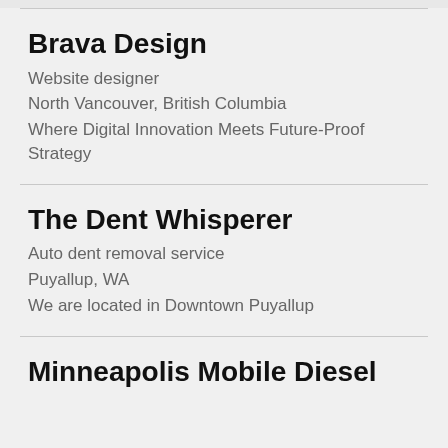Brava Design
Website designer
North Vancouver, British Columbia
Where Digital Innovation Meets Future-Proof Strategy
The Dent Whisperer
Auto dent removal service
Puyallup, WA
We are located in Downtown Puyallup
Minneapolis Mobile Diesel